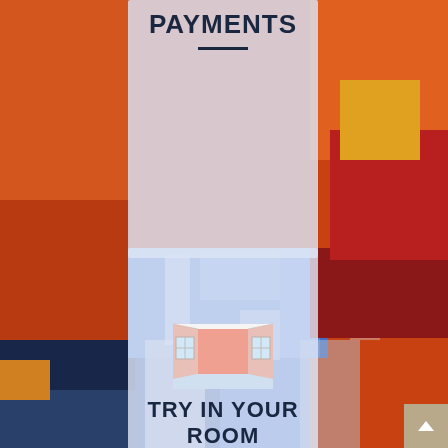[Figure (illustration): Abstract oil painting background with patches of blue, orange, red, and white brushstrokes covering the entire page]
PAYMENTS
[Figure (illustration): Simple icon of a room interior shown in perspective — salmon/pink colored room with two windows on either side wall, viewed from above/front]
TRY IN YOUR ROOM